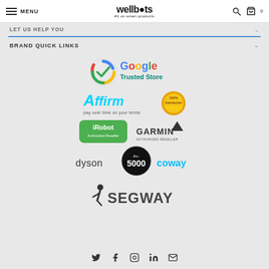MENU | wellbots #1 on smart products | search | cart 0
LET US HELP YOU
BRAND QUICK LINKS
[Figure (logo): Google Trusted Store badge]
[Figure (logo): Affirm - pay over time on your terms, with 100% Satisfaction badge]
[Figure (logo): iRobot Authorized Reseller and Garmin Authorized Reseller logos]
[Figure (logo): Dyson logo, Inc 5000 badge, Coway logo]
[Figure (logo): Segway logo]
Twitter, Facebook, Instagram, LinkedIn, Email social icons